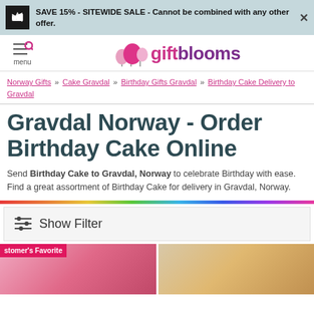SAVE 15% - SITEWIDE SALE - Cannot be combined with any other offer.
[Figure (logo): GiftBlooms logo with balloons icon, menu/search icon on left]
Norway Gifts » Cake Gravdal » Birthday Gifts Gravdal » Birthday Cake Delivery to Gravdal
Gravdal Norway - Order Birthday Cake Online
Send Birthday Cake to Gravdal, Norway to celebrate Birthday with ease. Find a great assortment of Birthday Cake for delivery in Gravdal, Norway.
Show Filter
[Figure (photo): Customer's Favorite badge on pink product image and a second product thumbnail]